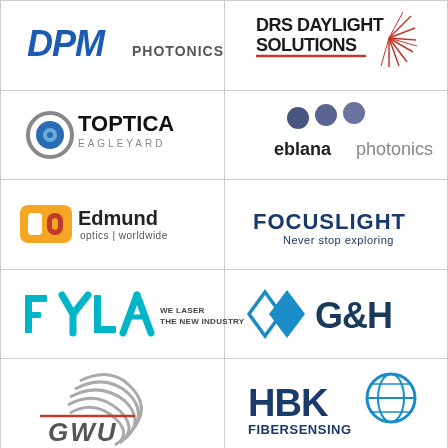[Figure (logo): DPM Photonics logo - italic blue DPM with PHOTONICS text]
[Figure (logo): DRS Daylight Solutions logo with sunburst/laser beam design]
[Figure (logo): TOPTICA Eagleyard logo with circular lens icon]
[Figure (logo): eblana photonics logo with three dark dots]
[Figure (logo): Edmund Optics worldwide logo with yellow/orange EO icon]
[Figure (logo): FOCUSLIGHT Never stop exploring logo in blue]
[Figure (logo): FYLA WE LASER THE NEW INDUSTRY logo in cyan]
[Figure (logo): G&H logo with blue diamond shapes]
[Figure (logo): GWU logo with stylized swirl design and red line]
[Figure (logo): HBK Fibersensing logo with globe icon]